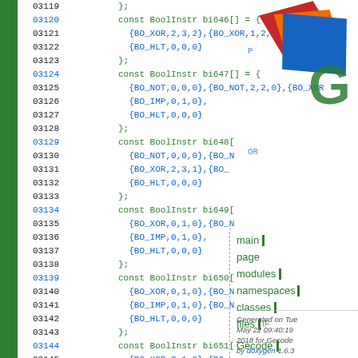[Figure (screenshot): Doxygen-generated source code browser showing C++ code with BoolInstr array definitions (bi646–bi652), line numbers 03119–03148, with navigation sidebar and Gecode logo overlay]
Generated on Tue May 22 09:40:19 2018 for Gecode by doxygen 1.6.3